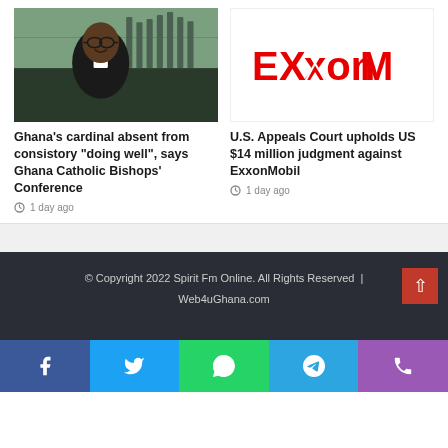[Figure (photo): African priest in black clerical collar smiling, interior church background]
Ghana's cardinal absent from consistory "doing well", says Ghana Catholic Bishops' Conference
1 day ago
[Figure (logo): ExxonMobil red logo on white background]
U.S. Appeals Court upholds US $14 million judgment against ExxonMobil
1 day ago
© Copyright 2022 Spirit Fm Online. All Rights Reserved  |  Web4uGhana.com